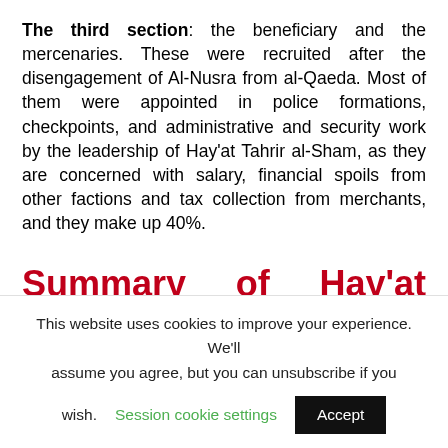The third section: the beneficiary and the mercenaries. These were recruited after the disengagement of Al-Nusra from al-Qaeda. Most of them were appointed in police formations, checkpoints, and administrative and security work by the leadership of Hay'at Tahrir al-Sham, as they are concerned with salary, financial spoils from other factions and tax collection from merchants, and they make up 40%.
Summary of Hay'at Tahrir al-Sham's ideology
This website uses cookies to improve your experience. We'll assume you agree, but you can unsubscribe if you wish. Session cookie settings Accept